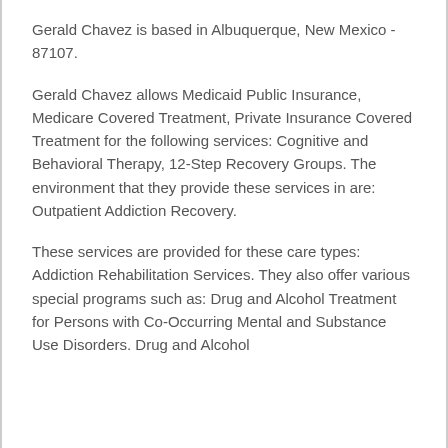Gerald Chavez is based in Albuquerque, New Mexico - 87107.
Gerald Chavez allows Medicaid Public Insurance, Medicare Covered Treatment, Private Insurance Covered Treatment for the following services: Cognitive and Behavioral Therapy, 12-Step Recovery Groups. The environment that they provide these services in are: Outpatient Addiction Recovery.
These services are provided for these care types: Addiction Rehabilitation Services. They also offer various special programs such as: Drug and Alcohol Treatment for Persons with Co-Occurring Mental and Substance Use Disorders. Drug and Alcohol